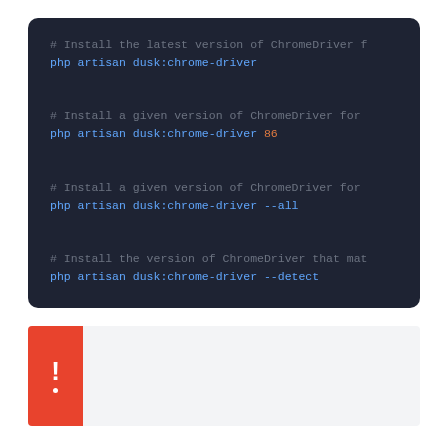[Figure (screenshot): Dark-themed code block showing four PHP artisan dusk:chrome-driver commands with comments]
[Figure (infographic): Alert/warning box with a red icon panel containing an exclamation mark on the left side]